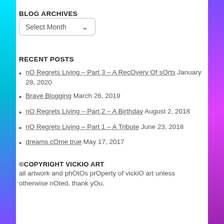BLOG ARCHIVES
Select Month
RECENT POSTS
nO Regrets Living – Part 3 – A RecOvery Of sOrts January 28, 2020
Brave Blogging March 26, 2019
nO Regrets Living – Part 2 – A Birthday August 2, 2018
nO Regrets Living – Part 1 – A Tribute June 23, 2018
dreams cOme true May 17, 2017
©COPYRIGHT VICKIO ART
all artwork and phOtOs prOperty of vickiO art unless otherwise nOted. thank yOu.